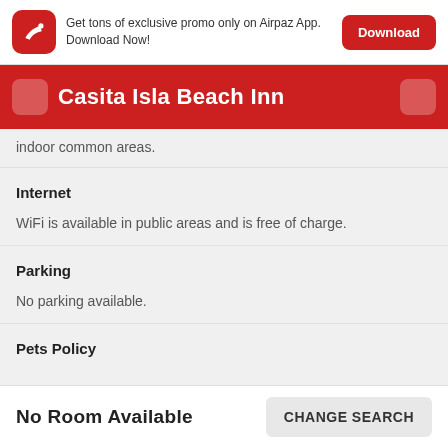[Figure (screenshot): Airpaz app promotional banner with red icon showing a high-heel shoe, text about exclusive promos, and a Download button]
Casita Isla Beach Inn
indoor common areas.
Internet
WiFi is available in public areas and is free of charge.
Parking
No parking available.
Pets Policy
No Room Available
CHANGE SEARCH